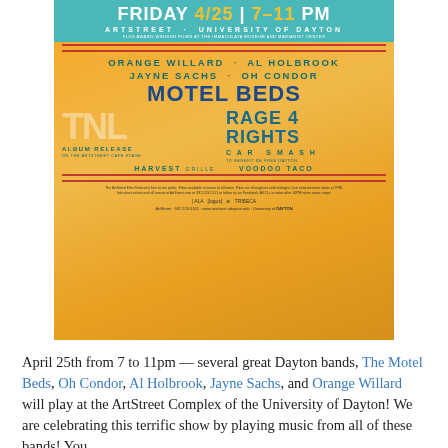[Figure (illustration): Event poster for a concert on Friday 4/25, 7–11 PM at ArtStreet, University of Dayton. Features bands: Orange Willard, Al Holbrook, Jayne Sachs, Oh Condor, Motel Beds, TNL (Album Release on the ArtStreet Cafe Stage), Rage 4 Rights, Car Smash (to benefit Be Free Dayton), Harvest Grille, Voodoo Taco. Orange and teal/yellow color scheme with guitar silhouette background.]
April 25th from 7 to 11pm — several great Dayton bands, The Motel Beds, Oh Condor, Al Holbrook, Jayne Sachs, and Orange Willard will play at the ArtStreet Complex of the University of Dayton! We are celebrating this terrific show by playing music from all of these bands! You